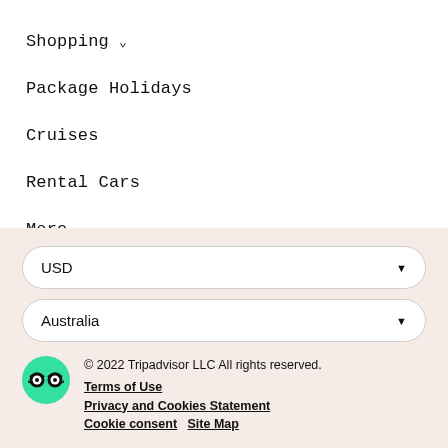Shopping ∨
Package Holidays
Cruises
Rental Cars
More ∨
USD
Australia
© 2022 Tripadvisor LLC All rights reserved.
Terms of Use
Privacy and Cookies Statement
Cookie consent   Site Map